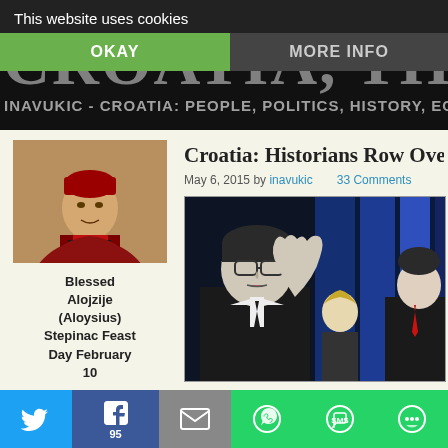This website uses cookies | OKAY | MORE INFO
CROATIA, THE WAR, A
INAVUKIC - CROATIA: PEOPLE, POLITICS, HISTORY, ECO...
[Figure (photo): Portrait painting of Blessed Alojzije (Aloysius) Stepinac in red cardinal robes]
Blessed Alojzije (Aloysius) Stepinac Feast Day February 10
Croatia: Historians Row Over Si...
May 6, 2015 by inavukic   33 Comments
[Figure (photo): Black and white photo of a man with glasses gesturing with his hand, appearing to be in a TV debate setting with a blue background and other people visible]
Twitter | Facebook 95 | Email | WhatsApp | SMS | More